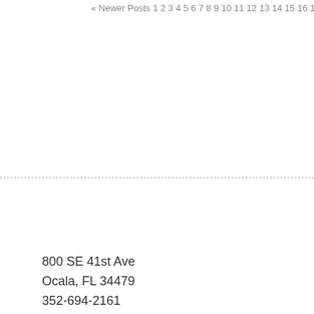« Newer Posts 1 2 3 4 5 6 7 8 9 10 11 12 13 14 15 16 17 18 19 20 21 22
800 SE 41st Ave
Ocala, FL 34479
352-694-2161
email